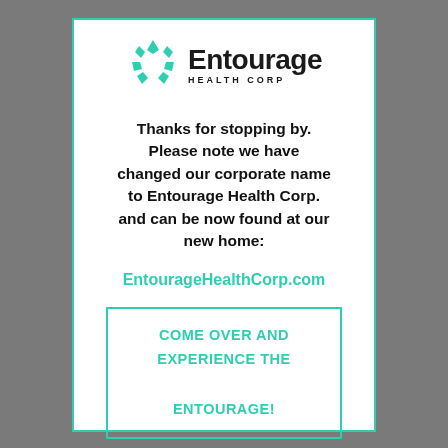[Figure (logo): Entourage Health Corp logo: teal geometric leaf/triangle symbol on the left, with 'Entourage' in bold black large text and 'HEALTH CORP' in small spaced bold caps below it]
Thanks for stopping by. Please note we have changed our corporate name to Entourage Health Corp. and can be now found at our new home:
EntourageHealthCorp.com
COME OVER AND EXPERIENCE THE ENTOURAGE!